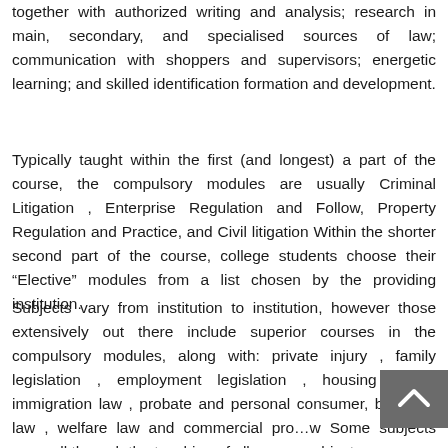together with authorized writing and analysis; research in main, secondary, and specialised sources of law; communication with shoppers and supervisors; energetic learning; and skilled identification formation and development.
Typically taught within the first (and longest) a part of the course, the compulsory modules are usually Criminal Litigation , Enterprise Regulation and Follow, Property Regulation and Practice, and Civil litigation Within the shorter second part of the course, college students choose their “Elective” modules from a list chosen by the providing institution.
Subjects vary from institution to institution, however those extensively out there include superior courses in the compulsory modules, along with: private injury , family legislation , employment legislation , housing law , immigration law , probate and personal consumer, business law , welfare law and commercial pro…w Some subjects recur all through the teaching of all course subjects